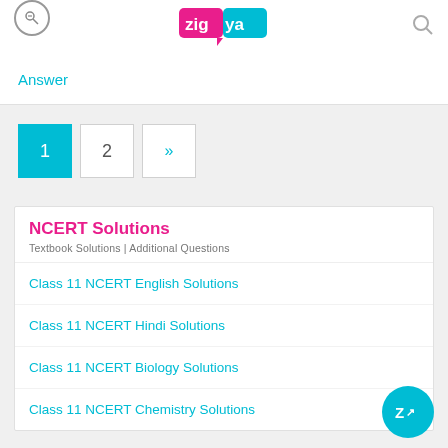[Figure (logo): Zigya logo with pink and cyan colored box design]
Answer
1  2  »
NCERT  Solutions
Textbook Solutions | Additional Questions
Class 11 NCERT English Solutions
Class 11 NCERT Hindi Solutions
Class 11 NCERT Biology Solutions
Class 11 NCERT Chemistry Solutions